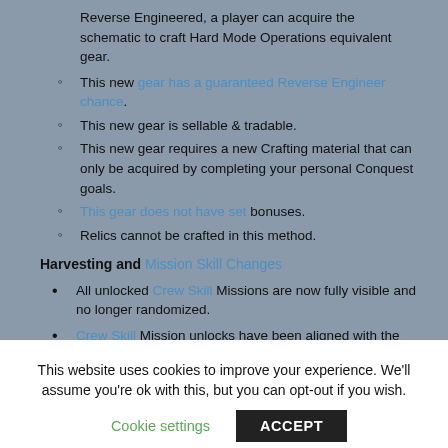Reverse Engineered, a player can acquire the schematic to craft Hard Mode Operations equivalent gear.
This new gear has a guaranteed Reverse Engineer chance.
This new gear is sellable & tradable.
This new gear requires a new Crafting material that can only be acquired by completing your personal Conquest goals.
This gear does not have set bonuses.
Relics cannot be crafted in this method.
Harvesting and Mission Skill Changes
All unlocked Crew Skill Missions are now fully visible and no longer randomized.
Crew Skill Mission unlocks have been aligned with the new Grade system from above.
This website uses cookies to improve your experience. We'll assume you're ok with this, but you can opt-out if you wish.
Cookie settings | ACCEPT